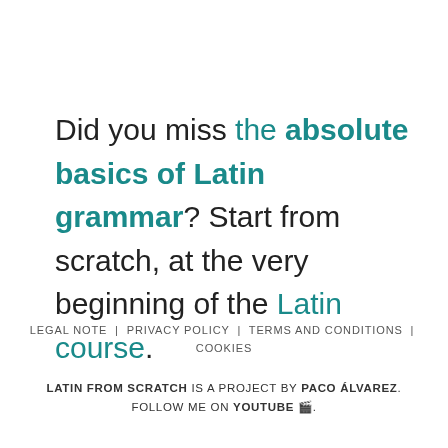Did you miss the absolute basics of Latin grammar? Start from scratch, at the very beginning of the Latin course.
LEGAL NOTE | PRIVACY POLICY | TERMS AND CONDITIONS | COOKIES
LATIN FROM SCRATCH IS A PROJECT BY PACO ÁLVAREZ. FOLLOW ME ON YOUTUBE 🎬.